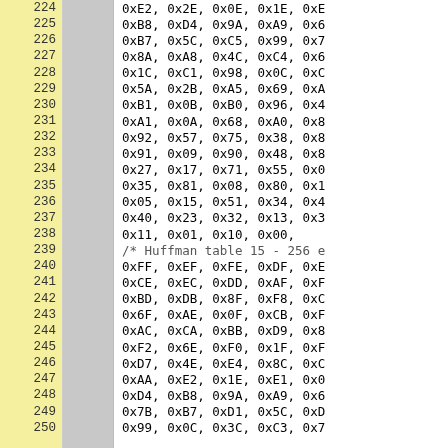| Line | Code |
| --- | --- |
| 224 | 0xE2, 0x2E, 0x0E, 0x1E, 0xE... |
| 225 | 0xB8, 0xD4, 0x9A, 0xA9, 0x6... |
| 226 | 0xB7, 0x5C, 0xC5, 0x99, 0x7... |
| 227 | 0x8A, 0xA8, 0x4C, 0xC4, 0x6... |
| 228 | 0x1C, 0xC1, 0x98, 0x0C, 0xC... |
| 229 | 0x5A, 0x2B, 0xA5, 0x69, 0xA... |
| 230 | 0xB1, 0x0B, 0xB0, 0x96, 0x4... |
| 231 | 0xA1, 0x0A, 0x68, 0xA0, 0x8... |
| 232 | 0x92, 0x57, 0x75, 0x38, 0x8... |
| 233 | 0x91, 0x09, 0x90, 0x48, 0x8... |
| 234 | 0x27, 0x17, 0x71, 0x55, 0x0... |
| 235 | 0x35, 0x81, 0x08, 0x80, 0x1... |
| 236 | 0x05, 0x15, 0x51, 0x34, 0x4... |
| 237 | 0x40, 0x23, 0x32, 0x13, 0x3... |
| 238 | 0x11, 0x01, 0x10, 0x00, |
| 239 | /* Huffman table 15 - 256 e... |
| 240 | 0xFF, 0xEF, 0xFE, 0xDF, 0xE... |
| 241 | 0xCE, 0xEC, 0xDD, 0xAF, 0xF... |
| 242 | 0xBD, 0xDB, 0x8F, 0xF8, 0xC... |
| 243 | 0x6F, 0xAE, 0x0F, 0xCB, 0xF... |
| 244 | 0xAC, 0xCA, 0xBB, 0xD9, 0x8... |
| 245 | 0xF2, 0x6E, 0xF0, 0x1F, 0xF... |
| 246 | 0xD7, 0x4E, 0xE4, 0x8C, 0xC... |
| 247 | 0xAA, 0xE2, 0x1E, 0xE1, 0x0... |
| 248 | 0xD4, 0xB8, 0x9A, 0xA9, 0x6... |
| 249 | 0x7B, 0xB7, 0xD1, 0x5C, 0xD... |
| 250 | 0x99, 0x0C, 0x3C, 0xC3, 0x7... |